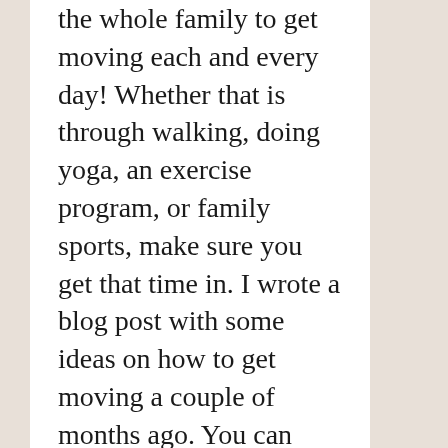the whole family to get moving each and every day! Whether that is through walking, doing yoga, an exercise program, or family sports, make sure you get that time in. I wrote a blog post with some ideas on how to get moving a couple of months ago. You can check that out here. There are also many people doing kids recess at home on YouTube that the whole family can get involved in. Try using this search, or do a search on your own – there are a lot of helpful